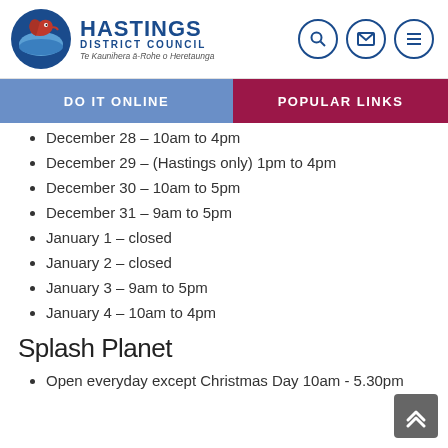Hastings District Council — Te Kaunihera ā-Rohe o Heretaunga
December 28 – 10am to 4pm
December 29 – (Hastings only) 1pm to 4pm
December 30 – 10am to 5pm
December 31 – 9am to 5pm
January 1 – closed
January 2 – closed
January 3 – 9am to 5pm
January 4 – 10am to 4pm
Splash Planet
Open everyday except Christmas Day 10am - 5.30pm